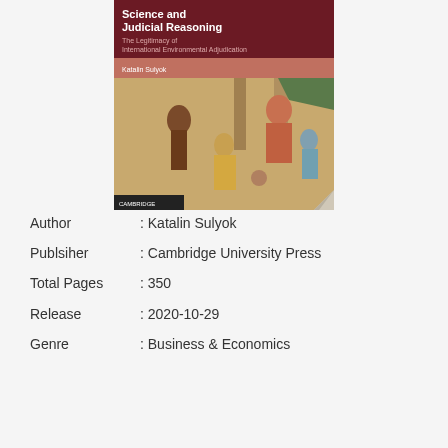[Figure (illustration): Book cover of 'Science and Judicial Reasoning: The Legitimacy of International Environmental Adjudication' by Katalin Sulyok, published by Cambridge University Press. The cover has a dark red/maroon header with the title text in white, a salmon-colored band with the author name, and a classical painting showing figures including a judge and a person being judged.]
Author : Katalin Sulyok
Publsiher : Cambridge University Press
Total Pages : 350
Release : 2020-10-29
Genre : Business & Economics